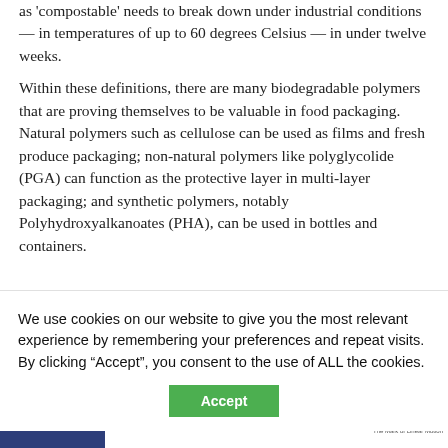as 'compostable' needs to break down under industrial conditions — in temperatures of up to 60 degrees Celsius — in under twelve weeks.
Within these definitions, there are many biodegradable polymers that are proving themselves to be valuable in food packaging. Natural polymers such as cellulose can be used as films and fresh produce packaging; non-natural polymers like polyglycolide (PGA) can function as the protective layer in multi-layer packaging; and synthetic polymers, notably Polyhydroxyalkanoates (PHA), can be used in bottles and containers.
We use cookies on our website to give you the most relevant experience by remembering your preferences and repeat visits. By clicking “Accept”, you consent to the use of ALL the cookies.
[Figure (other): Advertisement banner for Acorn Industrial Services Limited and THK (The Mark of Linear Motion). Features linear motion rail/guide images with text 'LARGE STOCKS - TECHNICAL APPLICATION ADVICE'.]